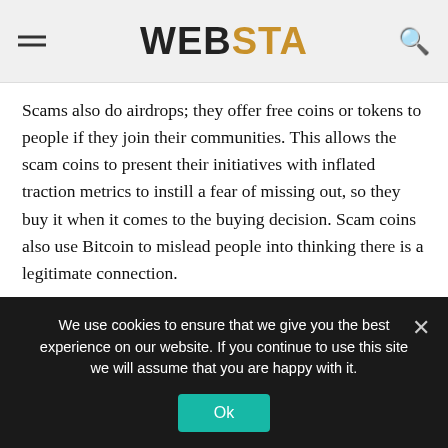WEBSTA
Scams also do airdrops; they offer free coins or tokens to people if they join their communities. This allows the scam coins to present their initiatives with inflated traction metrics to instill a fear of missing out, so they buy it when it comes to the buying decision. Scam coins also use Bitcoin to mislead people into thinking there is a legitimate connection.
Bitcoin scams have been making rounds as it is among the most popular cryptocurrencies but remember that the term “bitcoin” does not indicate the credibility of an exchange or a
We use cookies to ensure that we give you the best experience on our website. If you continue to use this site we will assume that you are happy with it.